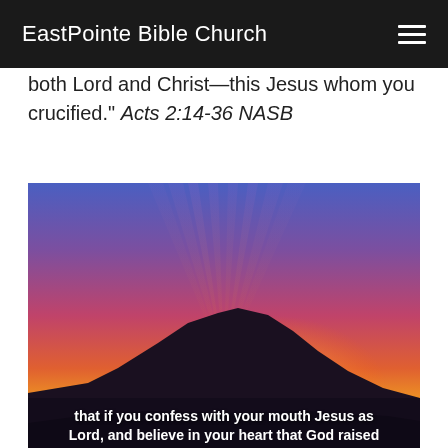EastPointe Bible Church
both Lord and Christ—this Jesus whom you crucified." Acts 2:14-36 NASB
[Figure (photo): Dramatic sunset over mountain silhouette with rays of orange, purple, and blue light. Text overlay at bottom reads: 'that if you confess with your mouth Jesus as Lord, and believe in your heart that God raised']